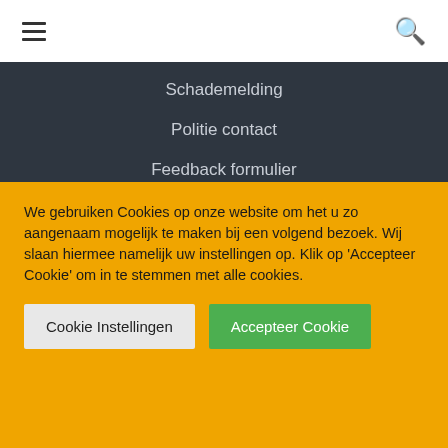☰  🔍
Schademelding
Politie contact
Feedback formulier
Contactformulier
Uniglas
We gebruiken Cookies op onze website om het u zo aangenaam mogelijk te maken bij een volgend bezoek. Wij slaan hiermee namelijk uw instellingen op. Klik op 'Accepteer Cookie' om in te stemmen met alle cookies.
Cookie Instellingen | Accepteer Cookie